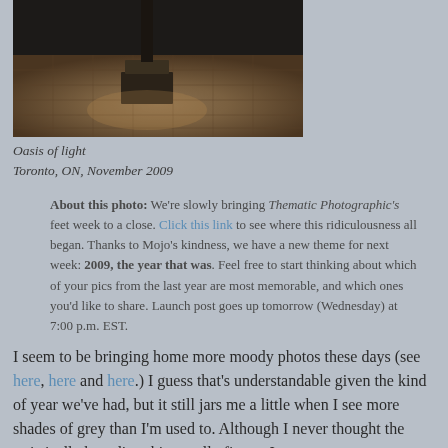[Figure (photo): Dark moody photo of a pedestal or bollard on stone paving tiles, dimly lit from above]
Oasis of light
Toronto, ON, November 2009
About this photo: We're slowly bringing Thematic Photographic's feet week to a close. Click this link to see where this ridiculousness all began. Thanks to Mojo's kindness, we have a new theme for next week: 2009, the year that was. Feel free to start thinking about which of your pics from the last year are most memorable, and which ones you'd like to share. Launch post goes up tomorrow (Wednesday) at 7:00 p.m. EST.
I seem to be bringing home more moody photos these days (see here, here and here.) I guess that's understandable given the kind of year we've had, but it still jars me a little when I see more shades of grey than I'm used to. Although I never thought the artistically brooding thing really fit me, I